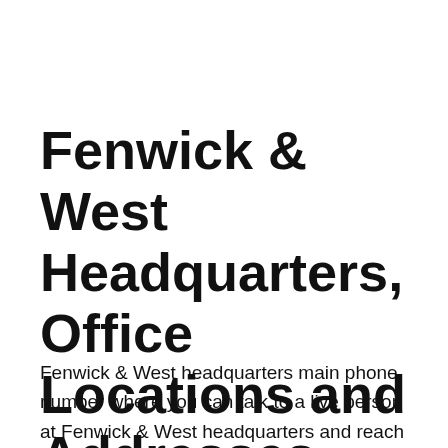Fenwick & West Headquarters, Office Locations and Addresses
Fenwick & West headquarters main phone number where you can talk to a live person at Fenwick & West headquarters and reach out any of departments including finance, sales...